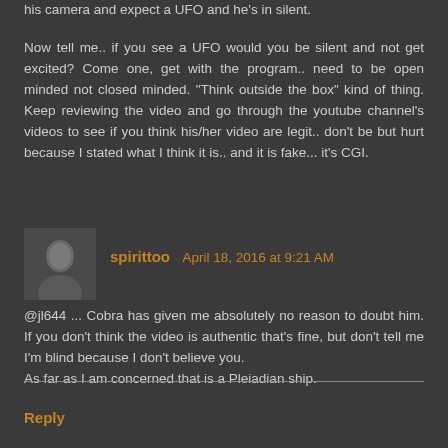his camera and expect a UFO and he's in silent.
Now tell me.. if you see a UFO would you be silent and not get excited? Come one, get with the program.. need to be open minded not closed minded. "Think outside the box" kind of thing. Keep reviewing the video and go through the youtube channel's videos to see if you think his/her video are legit.. don't be but hurt because I stated what I think it is.. and it is fake... it's CGI.
spirittoo April 18, 2016 at 9:21 AM
@jl644 ... Cobra has given me absolutely no reason to doubt him. If you don't think the video is authentic that's fine, but don't tell me I'm blind because I don't believe you.
As far as I am concerned that is a Pleiadian ship.
Reply